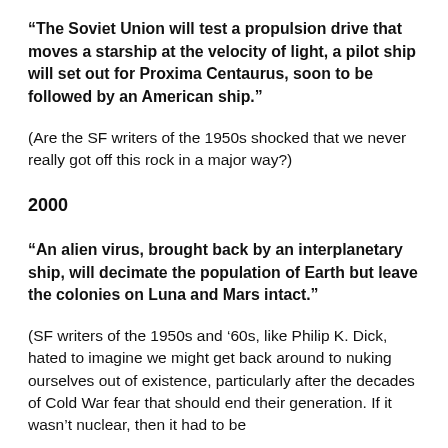“The Soviet Union will test a propulsion drive that moves a starship at the velocity of light, a pilot ship will set out for Proxima Centaurus, soon to be followed by an American ship.”
(Are the SF writers of the 1950s shocked that we never really got off this rock in a major way?)
2000
“An alien virus, brought back by an interplanetary ship, will decimate the population of Earth but leave the colonies on Luna and Mars intact.”
(SF writers of the 1950s and ’60s, like Philip K. Dick, hated to imagine we might get back around to nuking ourselves out of existence, particularly after the decades of Cold War fear that should end their generation. If it wasn’t nuclear, then it had to be